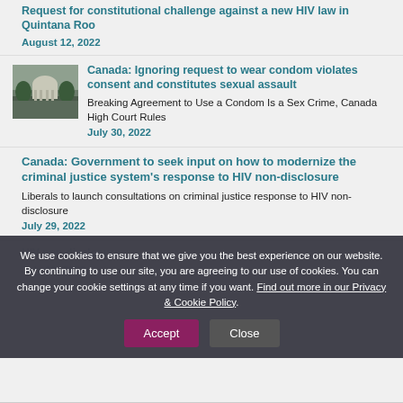Request for constitutional challenge against a new HIV law in Quintana Roo
August 12, 2022
[Figure (photo): Photo of a government building with dome, surrounded by trees]
Canada: Ignoring request to wear condom violates consent and constitutes sexual assault
Breaking Agreement to Use a Condom Is a Sex Crime, Canada High Court Rules
July 30, 2022
Canada: Government to seek input on how to modernize the criminal justice system's response to HIV non-disclosure
Liberals to launch consultations on criminal justice response to HIV non-disclosure
July 29, 2022
July 10, 2022
We use cookies to ensure that we give you the best experience on our website. By continuing to use our site, you are agreeing to our use of cookies. You can change your cookie settings at any time if you want. Find out more in our Privacy & Cookie Policy.